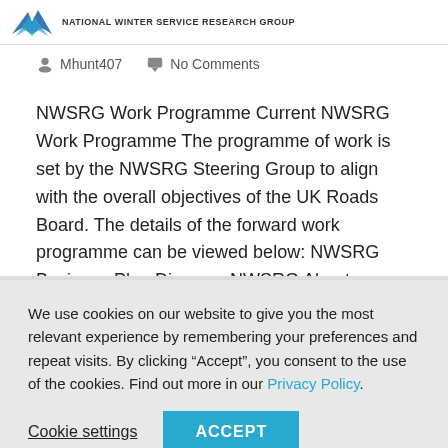NATIONAL WINTER SERVICE RESEARCH GROUP
Mhunt407   No Comments
NWSRG Work Programme Current NWSRG Work Programme The programme of work is set by the NWSRG Steering Group to align with the overall objectives of the UK Roads Board. The details of the forward work programme can be viewed below: NWSRG Business Plan Discover NWSRG About NWSRG Current Members & Associates Practical
We use cookies on our website to give you the most relevant experience by remembering your preferences and repeat visits. By clicking “Accept”, you consent to the use of the cookies. Find out more in our Privacy Policy.
Cookie settings   ACCEPT